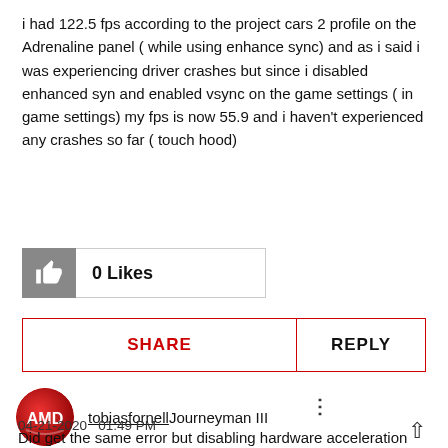i had 122.5 fps according to the project cars 2 profile on the Adrenaline panel ( while using enhance sync) and as i said i was experiencing driver crashes but since i disabled enhanced syn and enabled vsync on the game settings ( in game settings) my fps is now 55.9 and i haven't experienced any crashes so far ( touch hood)
[Figure (infographic): Thumbs up icon with 0 Likes count display]
[Figure (infographic): Action bar with SHARE button in red and REPLY button in black]
[Figure (infographic): AMD user avatar circle logo in red and black]
tobiasfornell Journeyman III
04-21-2020  01:49 PM
Did get the same error but disabling hardware acceleration